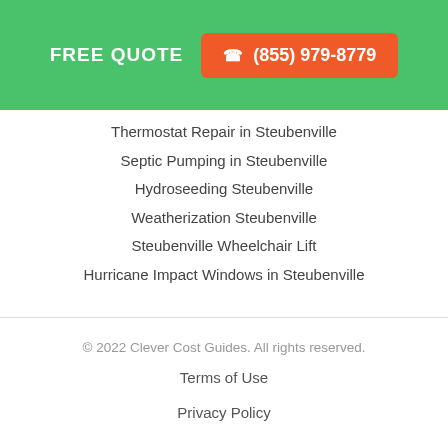FREE QUOTE  ☎ (855) 979-8779
Thermostat Repair in Steubenville
Septic Pumping in Steubenville
Hydroseeding Steubenville
Weatherization Steubenville
Steubenville Wheelchair Lift
Hurricane Impact Windows in Steubenville
© 2022 Clever Cost Guides. All rights reserved.
Terms of Use
Privacy Policy